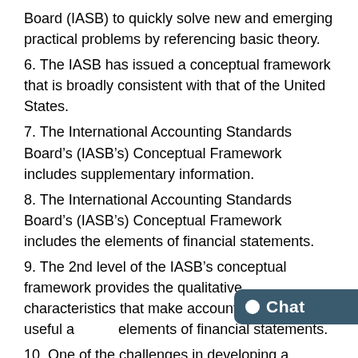Board (IASB) to quickly solve new and emerging practical problems by referencing basic theory.
6. The IASB has issued a conceptual framework that is broadly consistent with that of the United States.
7. The International Accounting Standards Board’s (IASB’s) Conceptual Framework includes supplementary information.
8. The International Accounting Standards Board’s (IASB’s) Conceptual Framework includes the elements of financial statements.
9. The 2nd level of the IASB’s conceptual framework provides the qualitative characteristics that make accounting information useful and elements of financial statements.
10. One of the challenges in developing a common